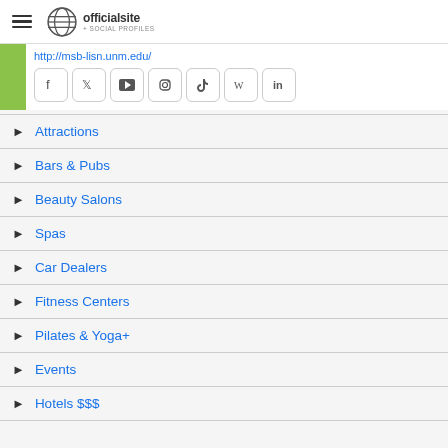officialsite + SOCIAL PROFILES
http://msb-lisn.unm.edu/
[Figure (other): Social media icon buttons: Facebook, Twitter, YouTube, Instagram, TikTok, Wikipedia, LinkedIn]
Attractions
Bars & Pubs
Beauty Salons
Spas
Car Dealers
Fitness Centers
Pilates & Yoga+
Events
Hotels $$$